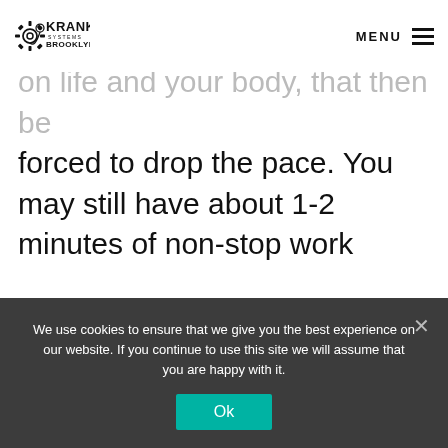KRANK SYSTEMS BROOKLYN | MENU
on life and your body, that then be forced to drop the pace. You may still have about 1-2 minutes of non-stop work depending on your conditioning. Finally, due to the burning of your lungs and muscles, fatigue has set in and you now have to work at an even slower pace, keep your guard up and move or
We use cookies to ensure that we give you the best experience on our website. If you continue to use this site we will assume that you are happy with it.
Ok